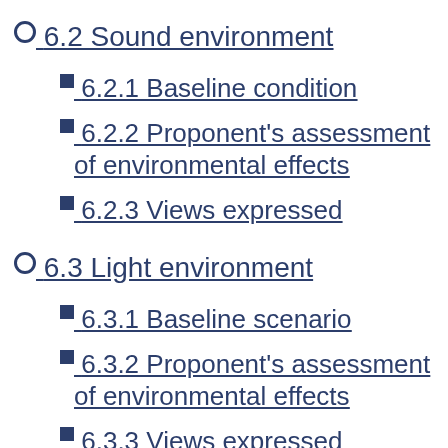6.1.3 Views expressed (partial, top of page)
6.2 Sound environment
6.2.1 Baseline condition
6.2.2 Proponent's assessment of environmental effects
6.2.3 Views expressed
6.3 Light environment
6.3.1 Baseline scenario
6.3.2 Proponent's assessment of environmental effects
6.3.3 Views expressed
6.4 Surface water, groundwater, soils and sediments